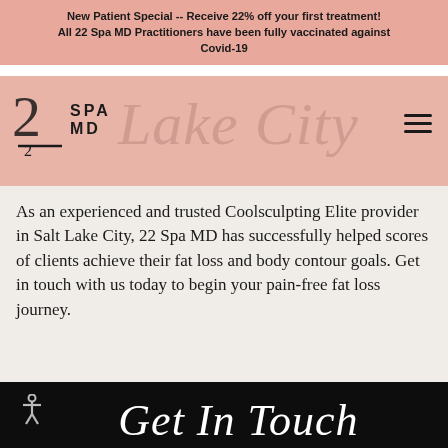New Patient Special -- Receive 22% off your first treatment! All 22 Spa MD Practitioners have been fully vaccinated against Covid-19
[Figure (logo): 22 Spa MD logo with stylized 22 numeral and SPA MD text, set on pink background with Lake City cursive watermark and hamburger menu icon]
As an experienced and trusted Coolsculpting Elite provider in Salt Lake City, 22 Spa MD has successfully helped scores of clients achieve their fat loss and body contour goals. Get in touch with us today to begin your pain-free fat loss journey.
Get In Touch